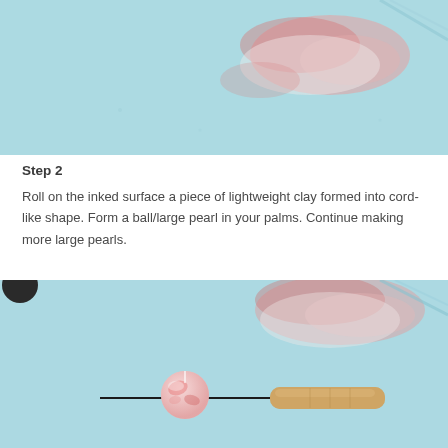[Figure (photo): Top photo showing a light blue surface with pink/red ink marks and smears on it, craft workspace]
Step 2
Roll on the inked surface a piece of lightweight clay formed into cord-like shape. Form a ball/large pearl in your palms. Continue making more large pearls.
[Figure (photo): Bottom photo showing a light blue surface with a pink marbled bead on a needle/pin tool with a tan tool handle, and pink ink marks in background]